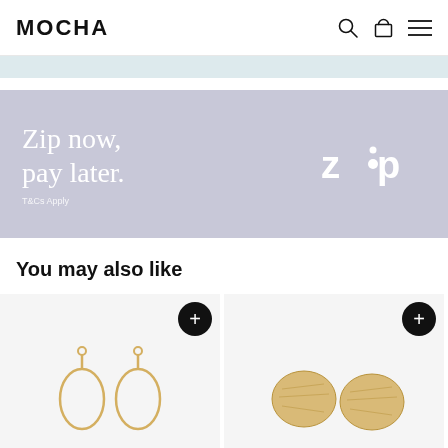MOCHA
[Figure (infographic): Zip buy now pay later promotional banner with text 'Zip now, pay later. T&Cs Apply' and Zip logo on grey/lavender background]
You may also like
[Figure (photo): Gold open teardrop hoop earrings on light background, with add to cart button]
[Figure (photo): Gold hammered disc stud earrings on light background, with add to cart button]